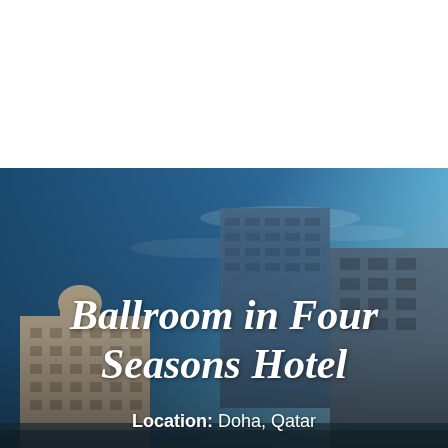[Figure (photo): Aerial/street-level photograph of the Four Seasons Hotel in Doha, Qatar, showing tall modern buildings against a blue sky. The lower portion shows the hotel building with classical/ornate architectural details. Text overlay reads 'Ballroom in Four Seasons Hotel' in large white italic bold font, and 'Location: Doha, Qatar' in smaller white text below.]
Ballroom in Four Seasons Hotel
Location: Doha, Qatar